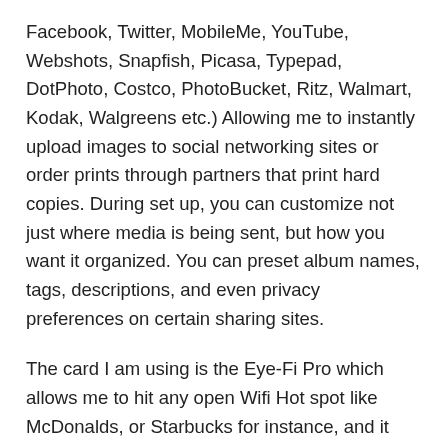Facebook, Twitter, MobileMe, YouTube, Webshots, Snapfish, Picasa, Typepad, DotPhoto, Costco, PhotoBucket, Ritz, Walmart, Kodak, Walgreens etc.) Allowing me to instantly upload images to social networking sites or order prints through partners that print hard copies. During set up, you can customize not just where media is being sent, but how you want it organized. You can preset album names, tags, descriptions, and even privacy preferences on certain sharing sites.
The card I am using is the Eye-Fi Pro which allows me to hit any open Wifi Hot spot like McDonalds, or Starbucks for instance, and it allows me to set up Wifi networks for places that I go to on a frequent basis that have free WiFi which is great. It also has RAW support and an 8 gig capacity which is a must. at 150 bucks the cost is a bit more, but I think it is worth it. The entry-level cards don't have hot spot access which sort of limits the card functionality. It's not that hard to plug your camera in and download the photos if you are at home.
One thing I have been playing with and plan to use on the Trip to